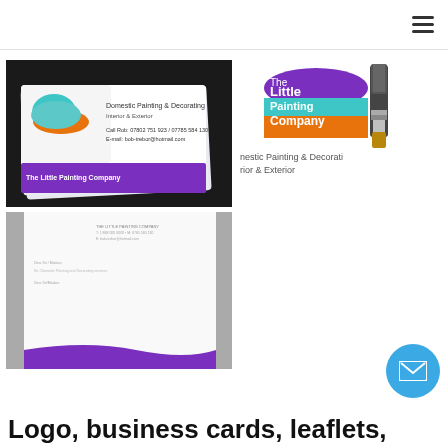[Figure (photo): Stack of printed business cards showing The Little Painting Company logo and contact details on a dark background]
[Figure (logo): The Little Painting Company logo with paint brush graphic and tagline 'nestic Painting & Decoration rior & Exterior']
[Figure (photo): Letterhead stationery design for The Little Painting Company on white paper with purple wave at bottom]
Logo, business cards, leaflets,